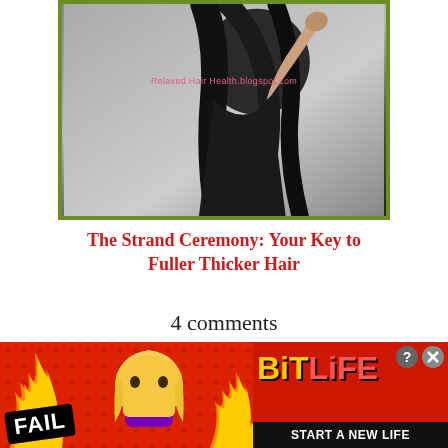[Figure (photo): A woman with long dark hair posed against a grey background, with a green border around the image and a watermark reading 'Relaxed Hair Health.blogspot.com']
The Strand Ceremony: Your Key to Fuller Thicker Hair
4 comments
Ne
[Figure (infographic): Advertisement banner for BitLife game. Red background with fire, a facepalm emoji, FAIL badge, sperm icon, BitLife logo in yellow/red, and text 'START A NEW LIFE'. Close and help buttons in top right.]